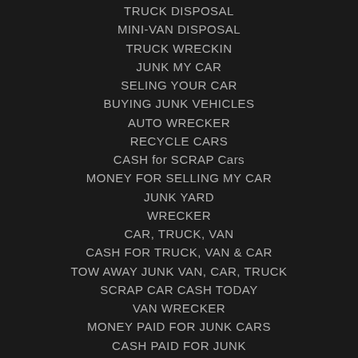TRUCK DISPOSAL
MINI-VAN DISPOSAL
TRUCK WRECKIN
JUNK MY CAR
SELING YOUR CAR
BUYING JUNK VEHICLES
AUTO WRECKER
RECYCLE CARS
CASH for SCRAP Cars
MONEY FOR SELLING MY CAR
JUNK YARD
WRECKER
CAR, TRUCK, VAN
CASH FOR TRUCK, VAN & CAR
TOW AWAY JUNK VAN, CAR, TRUCK
SCRAP CAR CASH TODAY
VAN WRECKER
MONEY PAID FOR JUNK CARS
CASH PAID FOR JUNK
RE-USE CAR, TRUCK, VAN